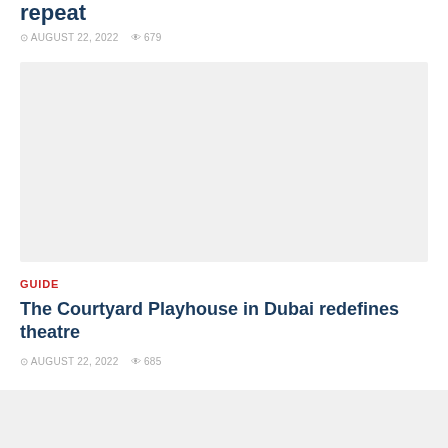repeat
AUGUST 22, 2022  679
[Figure (photo): Large gray placeholder image for an article]
GUIDE
The Courtyard Playhouse in Dubai redefines theatre
AUGUST 22, 2022  685
[Figure (photo): Partial gray placeholder image at bottom of page]